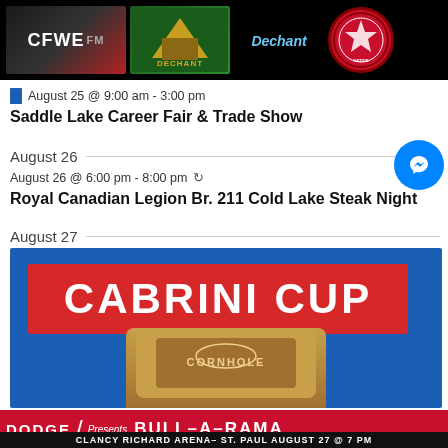[Figure (photo): Top banner with CFWE FM radio logo, Dechant construction logo, blue italic text logo, and a circular First Nation emblem on black background]
August 25 @ 9:00 am - 3:00 pm
Saddle Lake Career Fair & Trade Show
August 26
August 26 @ 6:00 pm - 8:00 pm
Royal Canadian Legion Br. 211 Cold Lake Steak Night
August 27
[Figure (photo): Cabrini Cup event banner with blue background, red bar reading CABRINI CUP in white bold text, and a cornhole tournament trophy below]
[Figure (photo): Dodge Bull-A-Rama advertisement banner: red background with Dodge logo, slash, Presents text, BULL-A-RAMA title; black sub-bar: CLANCY RICHARD ARENA- ST. PAUL AUGUST 27 @ 7 PM]